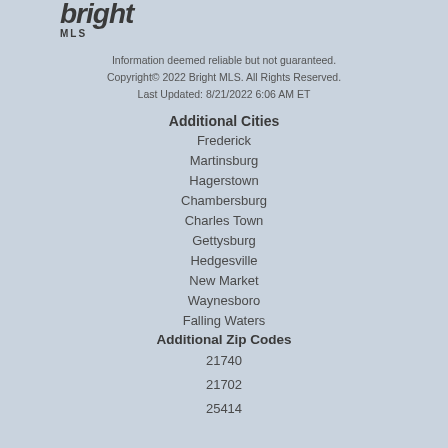[Figure (logo): Bright MLS logo with stylized italic 'bright' text and 'MLS' subtitle]
Information deemed reliable but not guaranteed.
Copyright© 2022 Bright MLS. All Rights Reserved.
Last Updated: 8/21/2022 6:06 AM ET
Additional Cities
Frederick
Martinsburg
Hagerstown
Chambersburg
Charles Town
Gettysburg
Hedgesville
New Market
Waynesboro
Falling Waters
Additional Zip Codes
21740
21702
25414